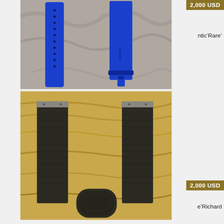[Figure (photo): Blue rubber/silicone watch strap laid flat on a marble-patterned surface, showing both the long strap piece with holes and the shorter buckle end piece]
2,000 USD
ntic’Rare’
[Figure (photo): Dark olive/black fabric/nylon watch straps laid on a wood-grain surface, showing two strap sections side by side and one folded strap end at the bottom]
2,000 USD
e’Richard